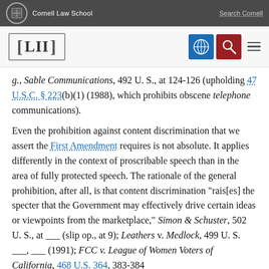Cornell Law School | Search Cornell
[Figure (logo): LII Legal Information Institute logo with navigation icons]
g., Sable Communications, 492 U. S., at 124-126 (upholding 47 U.S.C. § 223(b)(1) (1988), which prohibits obscene telephone communications).
Even the prohibition against content discrimination that we assert the First Amendment requires is not absolute. It applies differently in the context of proscribable speech than in the area of fully protected speech. The rationale of the general prohibition, after all, is that content discrimination "rais[es] the specter that the Government may effectively drive certain ideas or viewpoints from the marketplace," Simon & Schuster, 502 U. S., at ___ (slip op., at 9); Leathers v. Medlock, 499 U. S. ___, ___ (1991); FCC v. League of Women Voters of California, 468 U.S. 364, 383-384